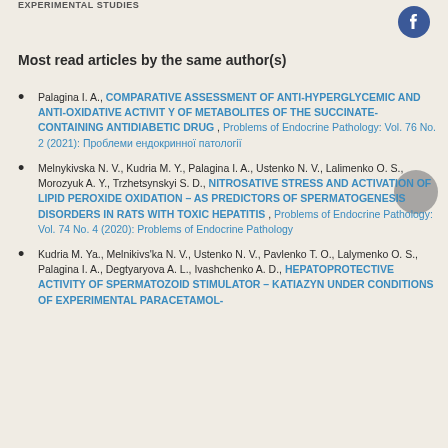EXPERIMENTAL STUDIES
Most read articles by the same author(s)
Palagina I. A., COMPARATIVE ASSESSMENT OF ANTI-HYPERGLYCEMIC AND ANTI-OXIDATIVE ACTIVIT Y OF METABOLITES OF THE SUCCINATE-CONTAINING ANTIDIABETIC DRUG , Problems of Endocrine Pathology: Vol. 76 No. 2 (2021): Проблеми ендокринної патології
Melnykivska N. V., Kudria M. Y., Palagina I. A., Ustenko N. V., Lalimenko O. S., Morozyuk A. Y., Trzhetsynskyi S. D., NITROSATIVE STRESS AND ACTIVATION OF LIPID PEROXIDE OXIDATION – AS PREDICTORS OF SPERMATOGENESIS DISORDERS IN RATS WITH TOXIC HEPATITIS , Problems of Endocrine Pathology: Vol. 74 No. 4 (2020): Problems of Endocrine Pathology
Kudria M. Ya., Melnikivs'ka N. V., Ustenko N. V., Pavlenko T. O., Lalymenko O. S., Palagina I. A., Degtyaryova A. L., Ivashchenko A. D., HEPATOPROTECTIVE ACTIVITY OF SPERMATOZOID STIMULATOR – KATIAZYN UNDER CONDITIONS OF EXPERIMENTAL PARACETAMOL-